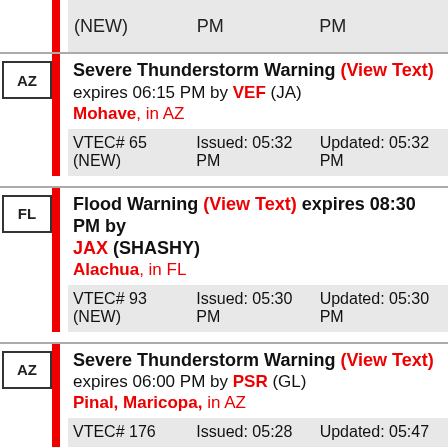(NEW)   PM   PM
AZ | Severe Thunderstorm Warning (View Text) expires 06:15 PM by VEF (JA)
Mohave, in AZ
VTEC# 65 (NEW) | Issued: 05:32 PM | Updated: 05:32 PM
FL | Flood Warning (View Text) expires 08:30 PM by JAX (SHASHY)
Alachua, in FL
VTEC# 93 (NEW) | Issued: 05:30 PM | Updated: 05:30 PM
AZ | Severe Thunderstorm Warning (View Text) expires 06:00 PM by PSR (GL)
Pinal, Maricopa, in AZ
VTEC# 176 | Issued: 05:28 | Updated: 05:47